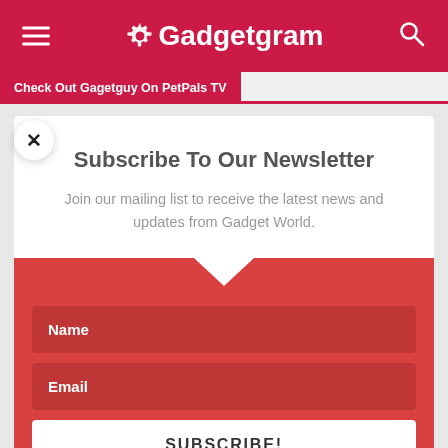Gadgetgram
Check Out Gagetguy On PetPals TV
Subscribe To Our Newsletter
Join our mailing list to receive the latest news and updates from Gadget World.
Name
Email
SUBSCRIBE!